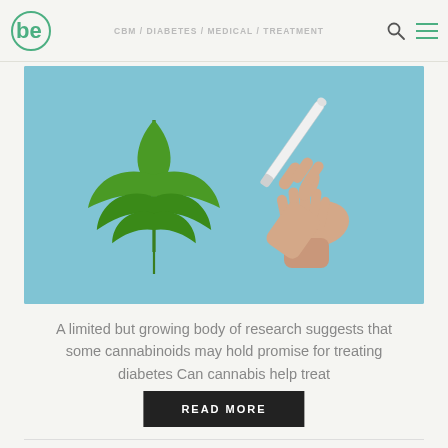CBM / DIABETES / MEDICAL / TREATMENT
[Figure (photo): Cannabis leaf on left side and two hands holding an insulin pen on right side, both against a light blue background]
A limited but growing body of research suggests that some cannabinoids may hold promise for treating diabetes Can cannabis help treat
READ MORE